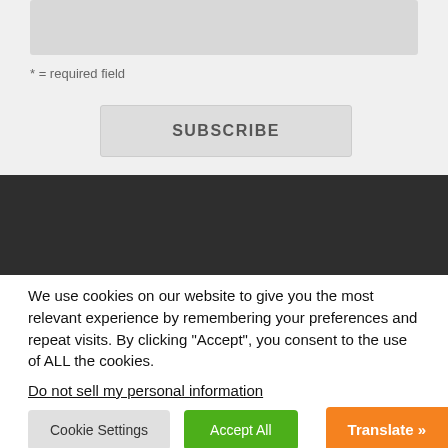[Figure (screenshot): A greyed-out text input field at the top of a subscription form]
* = required field
SUBSCRIBE
We use cookies on our website to give you the most relevant experience by remembering your preferences and repeat visits. By clicking “Accept”, you consent to the use of ALL the cookies. Do not sell my personal information.
Cookie Settings
Accept All
Translate »